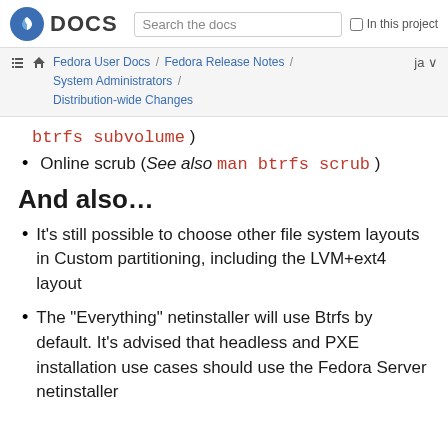Fedora DOCS | Search the docs | In this project
Fedora User Docs / Fedora Release Notes / System Administrators / Distribution-wide Changes | ja
btrfs subvolume )
Online scrub (See also man btrfs scrub )
And also…
It's still possible to choose other file system layouts in Custom partitioning, including the LVM+ext4 layout
The "Everything" netinstaller will use Btrfs by default. It's advised that headless and PXE installation use cases should use the Fedora Server netinstaller